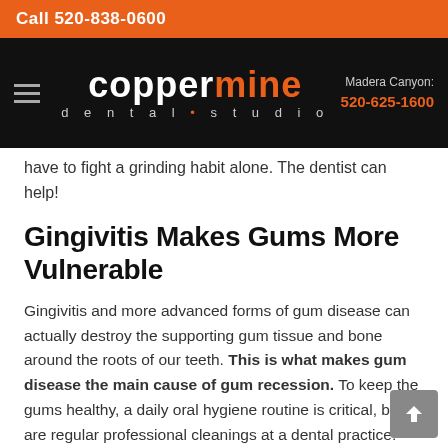Call 520-838-0600 | Coppermine Dental Studio | Madera Canyon: 520-625-1600
have to fight a grinding habit alone. The dentist can help!
Gingivitis Makes Gums More Vulnerable
Gingivitis and more advanced forms of gum disease can actually destroy the supporting gum tissue and bone around the roots of our teeth. This is what makes gum disease the main cause of gum recession. To keep the gums healthy, a daily oral hygiene routine is critical, but so are regular professional cleanings at a dental practice. Only the pros can remove plaque that has hardened into tartar, and the longer tartar is allowed to remain, the